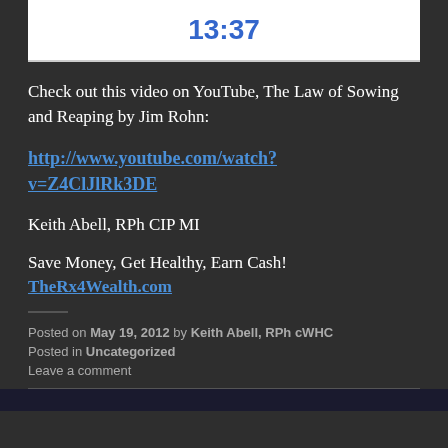13:37
Check out this video on YouTube, The Law of Sowing and Reaping by Jim Rohn:
http://www.youtube.com/watch?v=Z4ClJlRk3DE
Keith Abell, RPh CIP MI
Save Money, Get Healthy, Earn Cash!
TheRx4Wealth.com
Posted on May 19, 2012 by Keith Abell, RPh cWHC
Posted in Uncategorized
Leave a comment